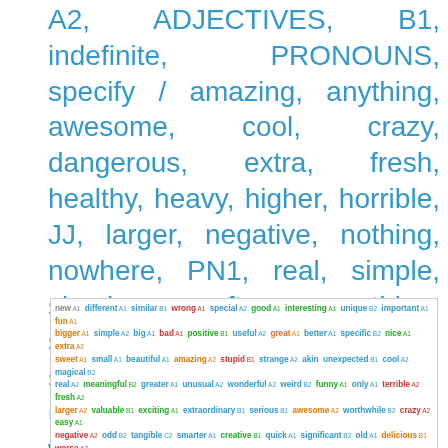A2, ADJECTIVES, B1, indefinite, PRONOUNS, specify / amazing, anything, awesome, cool, crazy, dangerous, extra, fresh, healthy, heavy, higher, horrible, JJ, larger, negative, nothing, nowhere, PN1, real, simple, simpler, soft, something, somewhere, SPECIAL, strange, stronger, terrible, unusual, useful, wonderful, worse
[Figure (other): Tag cloud of English vocabulary words with difficulty levels (A1, A2, B1, B2, C2) shown as colored labels in varying font sizes and colors]